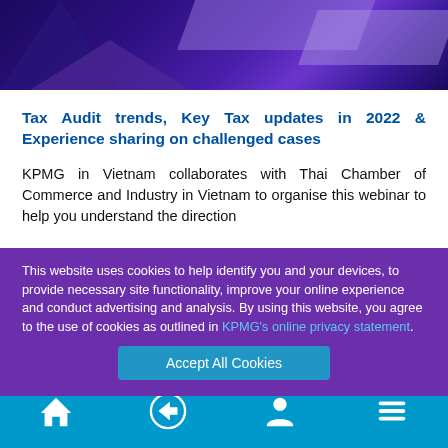[Figure (illustration): Dark purple/violet hero banner with diagonal geometric shapes and gradients]
Tax Audit trends, Key Tax updates in 2022 & Experience sharing on challenged cases
KPMG in Vietnam collaborates with Thai Chamber of Commerce and Industry in Vietnam to organise this webinar to help you understand the direction
This website uses cookies to help identify you and your devices, to provide necessary site functionality, improve your online experience and conduct advertising and analysis. By using this website, you agree to the use of cookies as outlined in KPMG's online privacy statement.
Accept All Cookies
[Figure (illustration): Blue bottom navigation bar with home, back arrow, person, and menu icons]